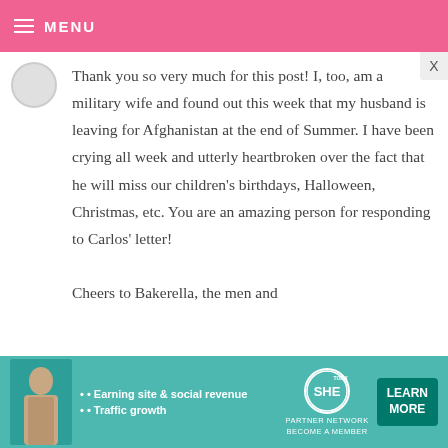MENU
Thank you so very much for this post! I, too, am a military wife and found out this week that my husband is leaving for Afghanistan at the end of Summer. I have been crying all week and utterly heartbroken over the fact that he will miss our children's birthdays, Halloween, Christmas, etc. You are an amazing person for responding to Carlos' letter!

Cheers to Bakerella, the men and
[Figure (infographic): SHE Partner Network advertisement banner with photo of woman, bullet points about earning site & social revenue and traffic growth, SHE logo, and Learn More button.]